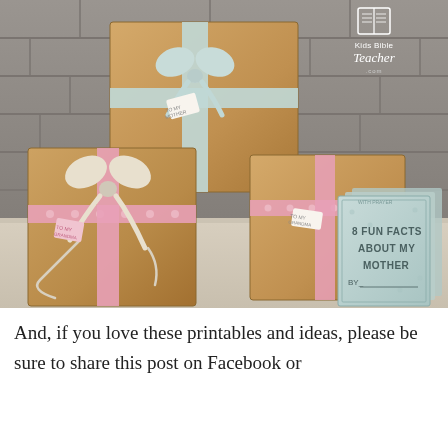[Figure (photo): Photo of kraft paper gift boxes wrapped with ribbons (light blue and pink with hearts), bows, and gift tags. In the foreground is a small booklet titled '8 FUN FACTS ABOUT MY MOTHER by ___'. A Kids Bible Teacher logo appears in the upper right corner of the photo.]
And, if you love these printables and ideas, please be sure to share this post on Facebook or